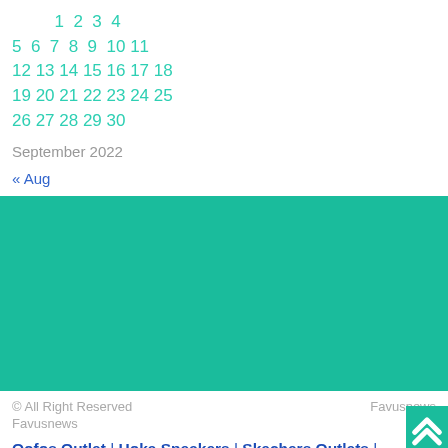1 2 3 4
5 6 7 8 9 10 11
12 13 14 15 16 17 18
19 20 21 22 23 24 25
26 27 28 29 30
September 2022
« Aug
[Figure (other): Teal/green colored banner block]
© All Right Reserved Favusnews
Favusnews
Oofos Outlet | Hoka Sneakers | Skechers Outlets | Running Shoes | Shoes UK | Clarks Shoes | Kizik Shoes | Taos Sandals | Nobull Shoes